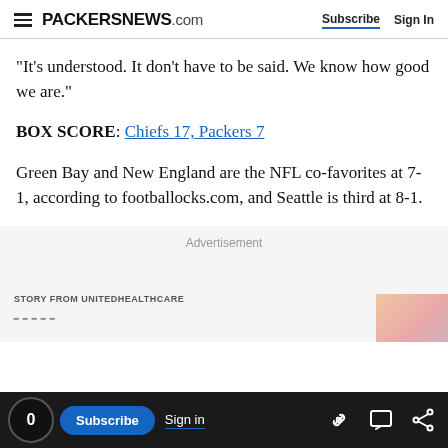PACKERSNEWS.com | Subscribe | Sign In
“It’s understood. It don’t have to be said. We know how good we are.”
BOX SCORE: Chiefs 17, Packers 7
Green Bay and New England are the NFL co-favorites at 7-1, according to footballocks.com, and Seattle is third at 8-1.
Advertisement
STORY FROM UNITEDHEALTHCARE
[Figure (photo): Partial image visible at bottom right, appears to show people]
0 | Subscribe | Sign in